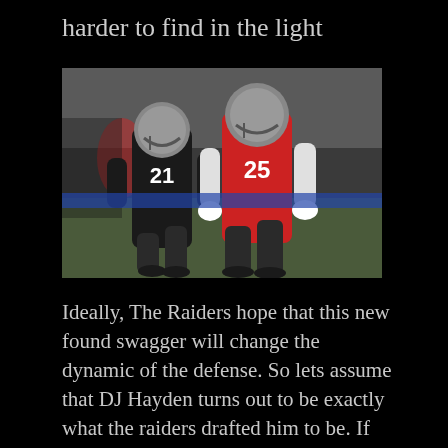harder to find in the light
[Figure (photo): Two Raiders football players in helmets running during practice. Player in black jersey with number 21, and player in red jersey with number 25, both wearing silver Raiders helmets.]
Ideally, The Raiders hope that this new found swagger will change the dynamic of the defense. So lets assume that DJ Hayden turns out to be exactly what the raiders drafted him to be. If Hayden fully recovers and is able to translate his game to the professional level then he should be able to